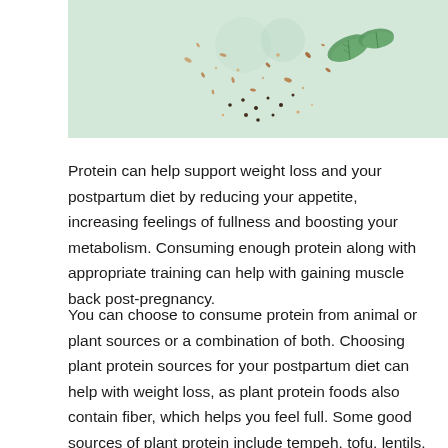[Figure (photo): Photo of seeds, herbs, and green leaves scattered on a light mint/green background, photographed from above.]
Protein can help support weight loss and your postpartum diet by reducing your appetite, increasing feelings of fullness and boosting your metabolism. Consuming enough protein along with appropriate training can help with gaining muscle back post-pregnancy.
You can choose to consume protein from animal or plant sources or a combination of both. Choosing plant protein sources for your postpartum diet can help with weight loss, as plant protein foods also contain fiber, which helps you feel full. Some good sources of plant protein include tempeh, tofu, lentils, beans, hemp